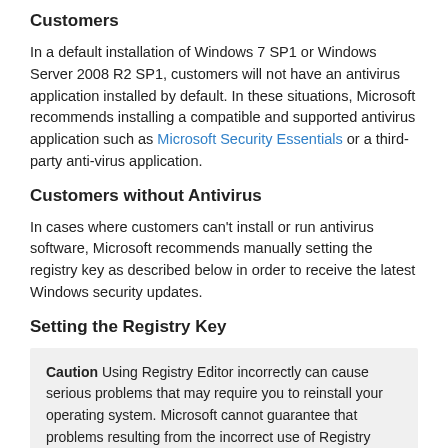Customers
In a default installation of Windows 7 SP1 or Windows Server 2008 R2 SP1, customers will not have an antivirus application installed by default. In these situations, Microsoft recommends installing a compatible and supported antivirus application such as Microsoft Security Essentials or a third-party anti-virus application.
Customers without Antivirus
In cases where customers can't install or run antivirus software, Microsoft recommends manually setting the registry key as described below in order to receive the latest Windows security updates.
Setting the Registry Key
Caution Using Registry Editor incorrectly can cause serious problems that may require you to reinstall your operating system. Microsoft cannot guarantee that problems resulting from the incorrect use of Registry Editor can be solved. Use Registry Editor at your own risk. For information about how to edit the registry, view